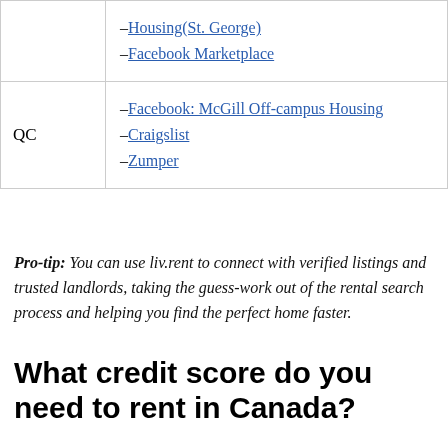| Region | Links |
| --- | --- |
|  | –Housing(St. George)
–Facebook Marketplace |
| QC | –Facebook: McGill Off-campus Housing
–Craigslist
–Zumper |
Pro-tip: You can use liv.rent to connect with verified listings and trusted landlords, taking the guess-work out of the rental search process and helping you find the perfect home faster.
What credit score do you need to rent in Canada?